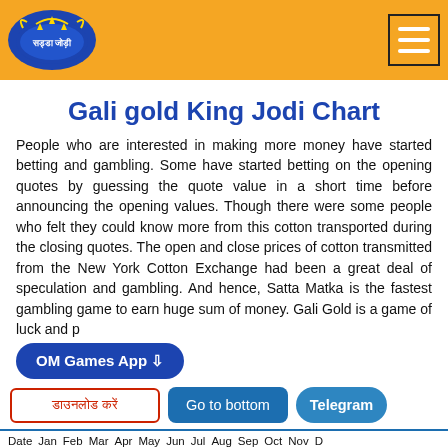सड्डा जोड़ी — [hamburger menu]
Gali gold King Jodi Chart
People who are interested in making more money have started betting and gambling. Some have started betting on the opening quotes by guessing the quote value in a short time before announcing the opening values. Though there were some people who felt they could know more from this cotton transported during the closing quotes. The open and close prices of cotton transmitted from the New York Cotton Exchange had been a great deal of speculation and gambling. And hence, Satta Matka is the fastest gambling game to earn huge sum of money. Gali Gold is a game of luck and p
OM Games App ⇩
डाउनलोड करें
Go to bottom
Telegram